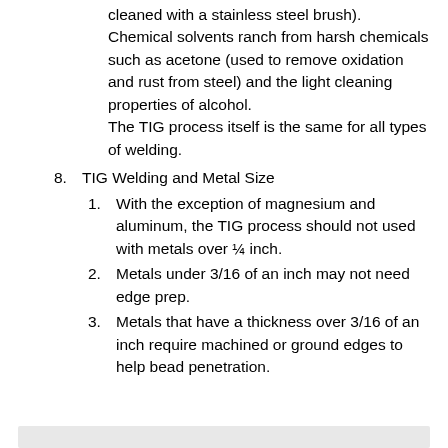cleaned with a stainless steel brush). Chemical solvents ranch from harsh chemicals such as acetone (used to remove oxidation and rust from steel) and the light cleaning properties of alcohol. The TIG process itself is the same for all types of welding.
8. TIG Welding and Metal Size
1. With the exception of magnesium and aluminum, the TIG process should not used with metals over ¼ inch.
2. Metals under 3/16 of an inch may not need edge prep.
3. Metals that have a thickness over 3/16 of an inch require machined or ground edges to help bead penetration.